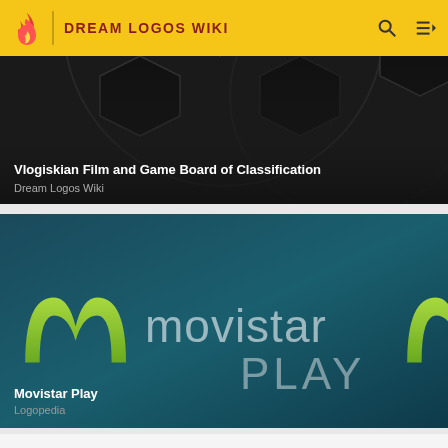DREAM LOGOS WIKI
[Figure (screenshot): Card showing 'Vlogiskian Film and Game Board of Classification' article from Dream Logos Wiki, with dark soccer ball background]
Vlogiskian Film and Game Board of Classification
Dream Logos Wiki
[Figure (logo): Movistar Play logo on teal/blue gradient background with green M symbol and light grey movistar and PLAY text]
Movistar Play
Logopedia
[Figure (screenshot): Partial third card visible at bottom of page with white background]